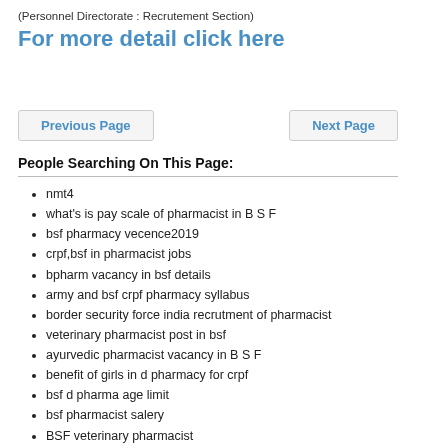(Personnel Directorate : Recrutement Section)
For more detail click here
Previous Page
Next Page
People Searching On This Page:
nmt4
what's is pay scale of pharmacist in B S F
bsf pharmacy vecence2019
crpf,bsf in pharmacist jobs
bpharm vacancy in bsf details
army and bsf crpf pharmacy syllabus
border security force india recrutment of pharmacist
veterinary pharmacist post in bsf
ayurvedic pharmacist vacancy in B S F
benefit of girls in d pharmacy for crpf
bsf d pharma age limit
bsf pharmacist salery
BSF veterinary pharmacist
paramedical bsf2013
bsf paramedical job in pharmacist 2013